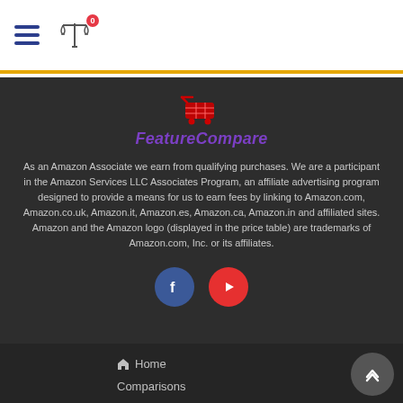Navigation bar with hamburger menu and scale/compare icon with badge 0
[Figure (logo): FeatureCompare shopping cart logo icon in red]
FeatureCompare
As an Amazon Associate we earn from qualifying purchases. We are a participant in the Amazon Services LLC Associates Program, an affiliate advertising program designed to provide a means for us to earn fees by linking to Amazon.com, Amazon.co.uk, Amazon.it, Amazon.es, Amazon.ca, Amazon.in and affiliated sites. Amazon and the Amazon logo (displayed in the price table) are trademarks of Amazon.com, Inc. or its affiliates.
[Figure (illustration): Facebook and YouTube social media icon buttons]
Home
Comparisons